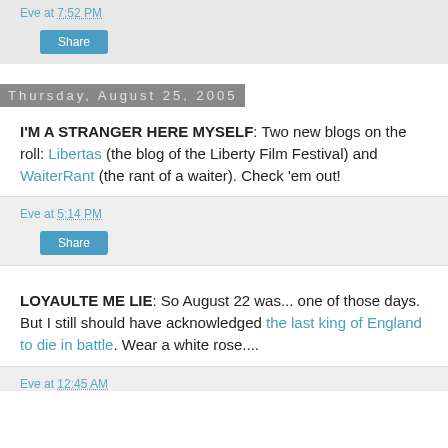Eve at 7:52 PM
Share
Thursday, August 25, 2005
I'M A STRANGER HERE MYSELF: Two new blogs on the roll: Libertas (the blog of the Liberty Film Festival) and WaiterRant (the rant of a waiter). Check 'em out!
Eve at 5:14 PM
Share
LOYAULTE ME LIE: So August 22 was... one of those days. But I still should have acknowledged the last king of England to die in battle. Wear a white rose....
Eve at 12:45 AM